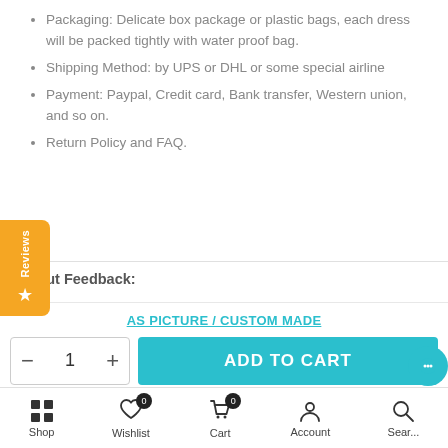Packaging: Delicate box package or plastic bags, each dress will be packed tightly with water proof bag.
Shipping Method: by UPS or DHL or some special airline
Payment: Paypal, Credit card, Bank transfer, Western union, and so on.
Return Policy and FAQ.
About Feedback:
AS PICTURE / CUSTOM MADE
- 1 + ADD TO CART
Shop  Wishlist 0  Cart 0  Account  Search